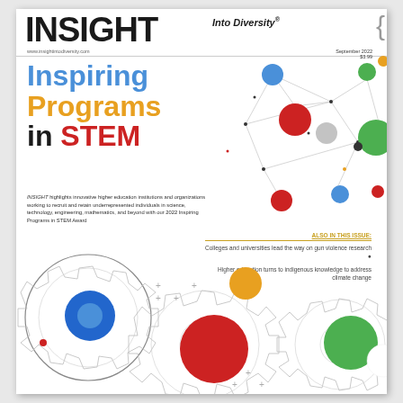INSIGHT Into Diversity®
www.insightintodiversity.com
September 2022
$3.99
Inspiring Programs in STEM
INSIGHT highlights innovative higher education institutions and organizations working to recruit and retain underrepresented individuals in science, technology, engineering, mathematics, and beyond with our 2022 Inspiring Programs in STEM Award
ALSO IN THIS ISSUE:
Colleges and universities lead the way on gun violence research
Higher education turns to indigenous knowledge to address climate change
[Figure (illustration): Network diagram with colored circles (blue, green, orange, red, gray) connected by thin lines on white background]
[Figure (illustration): Three large interlocking gear outlines in wireframe/sketch style with colored circles (blue, red, green, orange) overlaid on them]